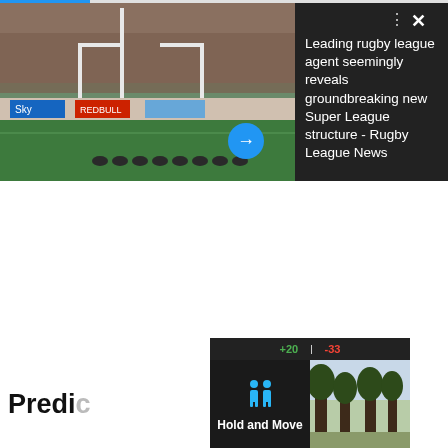[Figure (photo): Rugby league photo showing rugby balls lined up on a pitch with goal posts and crowd in background. Has a dark panel overlay on right with close/more icons and a blue arrow button.]
Leading rugby league agent seemingly reveals groundbreaking new Super League structure - Rugby League News
[Figure (screenshot): Advertisement banner showing a sports app with score bar (+20, -33), person icon, Hold and Move text, and a nature photo on the right. Has help and close icons.]
Predi